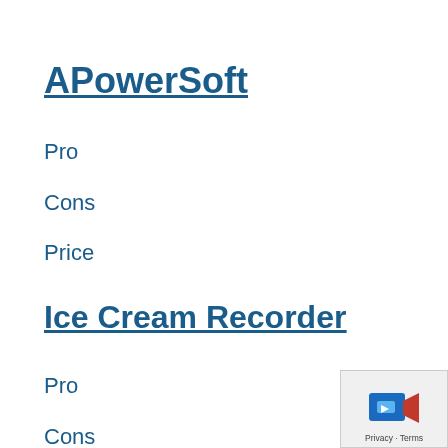APowerSoft
Pro
Cons
Price
Ice Cream Recorder
Pro
Cons